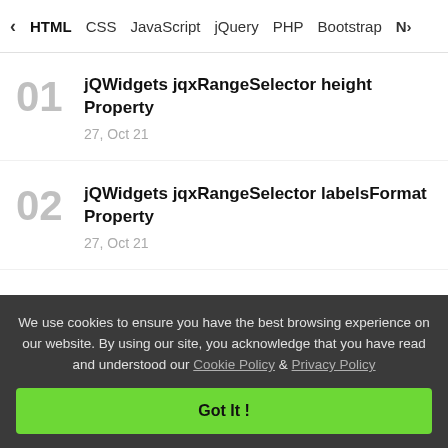< HTML  CSS  JavaScript  jQuery  PHP  Bootstrap  N>
jQWidgets jqxRangeSelector height Property
27, Oct 21
jQWidgets jqxRangeSelector labelsFormat Property
27, Oct 21
jQWidgets jqxRangeSelector disabled Property
27, Oct 21
jQWidgets jqxRangeSelector…
We use cookies to ensure you have the best browsing experience on our website. By using our site, you acknowledge that you have read and understood our Cookie Policy & Privacy Policy
Got It !